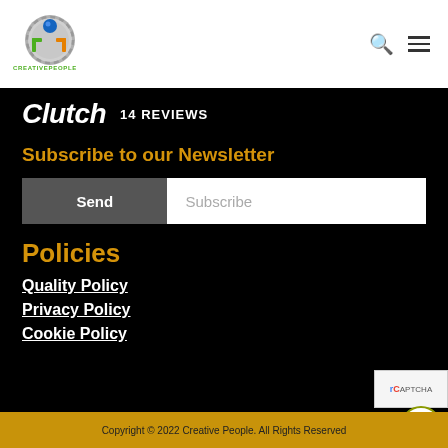[Figure (logo): Creative People company logo: circular gear/chrome emblem with blue sphere, green and orange bracket shapes, text 'CREATIVEPEOPLE' in green below]
Clutch  14 REVIEWS
Subscribe to our Newsletter
Send  Subscribe
Policies
Quality Policy
Privacy Policy
Cookie Policy
Copyright © 2022 Creative People. All Rights Reserved